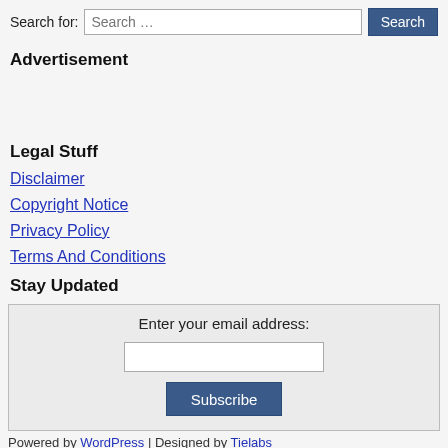Search for: Search … Search
Advertisement
Disclaimer
Copyright Notice
Privacy Policy
Terms And Conditions
Legal Stuff
Stay Updated
Enter your email address:
Powered by WordPress | Designed by Tielabs